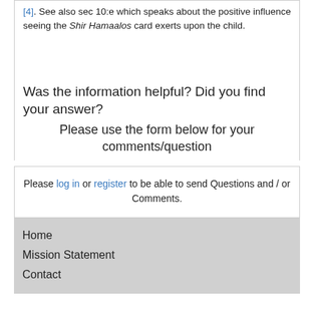[4]. See also sec 10:e which speaks about the positive influence seeing the Shir Hamaalos card exerts upon the child.
Was the information helpful? Did you find your answer?
Please use the form below for your comments/question
Please log in or register to be able to send Questions and / or Comments.
Home
Mission Statement
Contact